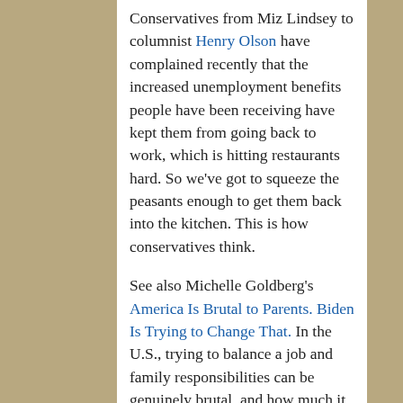Conservatives from Miz Lindsey to columnist Henry Olson have complained recently that the increased unemployment benefits people have been receiving have kept them from going back to work, which is hitting restaurants hard. So we've got to squeeze the peasants enough to get them back into the kitchen. This is how conservatives think.
See also Michelle Goldberg's America Is Brutal to Parents. Biden Is Trying to Change That. In the U.S., trying to balance a job and family responsibilities can be genuinely brutal, and how much it holds back women with children is incalculable. Among other things, Goldberg writes,
There are several reasons our domestic policy...